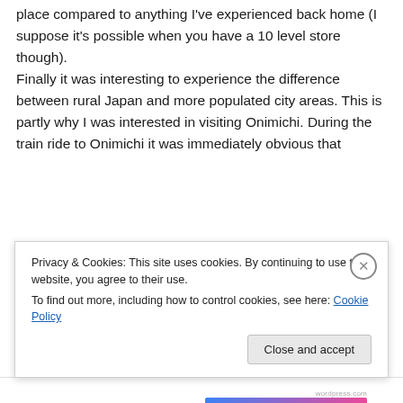place compared to anything I've experienced back home (I suppose it's possible when you have a 10 level store though).
Finally it was interesting to experience the difference between rural Japan and more populated city areas. This is partly why I was interested in visiting Onimichi. During the train ride to Onimichi it was immediately obvious that the...
Privacy & Cookies: This site uses cookies. By continuing to use this website, you agree to their use.
To find out more, including how to control cookies, see here: Cookie Policy